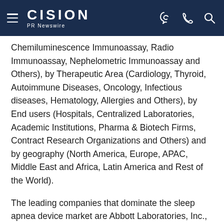CISION PR Newswire
Chemiluminescence Immunoassay, Radio Immunoassay, Nephelometric Immunoassay and Others), by Therapeutic Area (Cardiology, Thyroid, Autoimmune Diseases, Oncology, Infectious diseases, Hematology, Allergies and Others), by End users (Hospitals, Centralized Laboratories, Academic Institutions, Pharma & Biotech Firms, Contract Research Organizations and Others) and by geography (North America, Europe, APAC, Middle East and Africa, Latin America and Rest of the World).
The leading companies that dominate the sleep apnea device market are Abbott Laboratories, Inc., Akers Biosciences, Inc., Becton Dickinson & Company